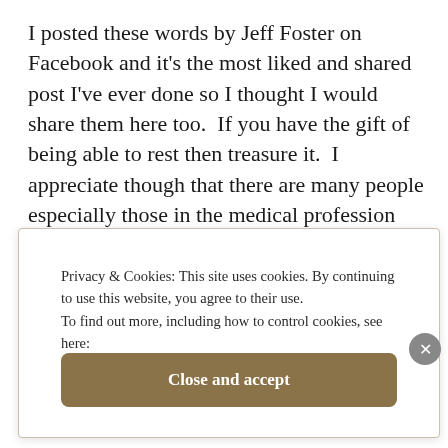I posted these words by Jeff Foster on Facebook and it's the most liked and shared post I've ever done so I thought I would share them here too.  If you have the gift of being able to rest then treasure it.  I appreciate though that there are many people especially those in the medical profession who are exhausted and I hope that they too can find some downtime to recharge and take care of themselves too.
Privacy & Cookies: This site uses cookies. By continuing to use this website, you agree to their use.
To find out more, including how to control cookies, see here: Cookie Policy
Close and accept